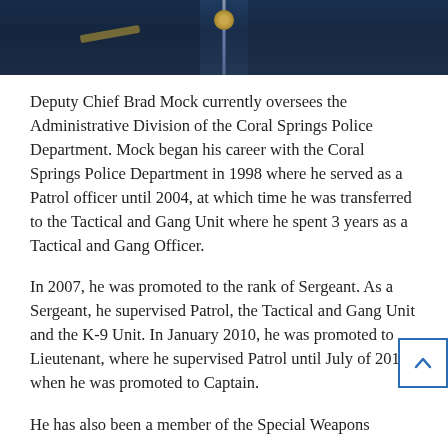[Figure (photo): Cropped photo of a police officer in dark navy uniform, showing chest/collar area with badge and zipper visible]
Deputy Chief Brad Mock currently oversees the Administrative Division of the Coral Springs Police Department. Mock began his career with the Coral Springs Police Department in 1998 where he served as a Patrol officer until 2004, at which time he was transferred to the Tactical and Gang Unit where he spent 3 years as a Tactical and Gang Officer.
In 2007, he was promoted to the rank of Sergeant. As a Sergeant, he supervised Patrol, the Tactical and Gang Unit and the K-9 Unit. In January 2010, he was promoted to Lieutenant, where he supervised Patrol until July of 2010, when he was promoted to Captain.
He has also been a member of the Special Weapons